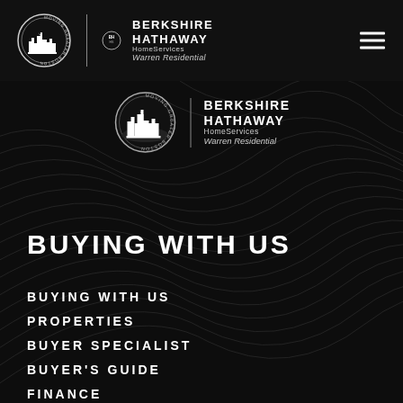[Figure (logo): Moving Greater Boston circular logo with city skyline and Berkshire Hathaway HomeServices Warren Residential text logo in navigation bar]
[Figure (logo): Moving Greater Boston circular logo with city skyline and Berkshire Hathaway HomeServices Warren Residential text logo centered on page]
BUYING WITH US
BUYING WITH US
PROPERTIES
BUYER SPECIALIST
BUYER'S GUIDE
FINANCE